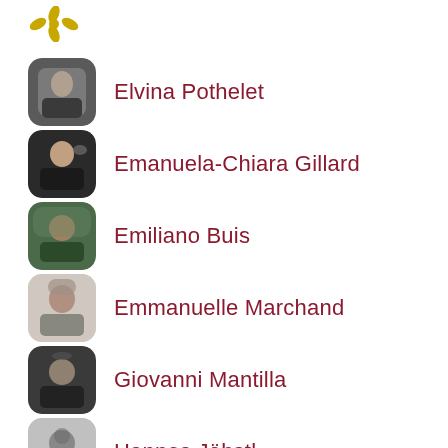[Figure (logo): Gold decorative logo/icon at top]
Elvina Pothelet
Emanuela-Chiara Gillard
Emiliano Buis
Emmanuelle Marchand
Giovanni Mantilla
Hannes Jöbstl
Hannes Jobstl
Hiba Mikhail